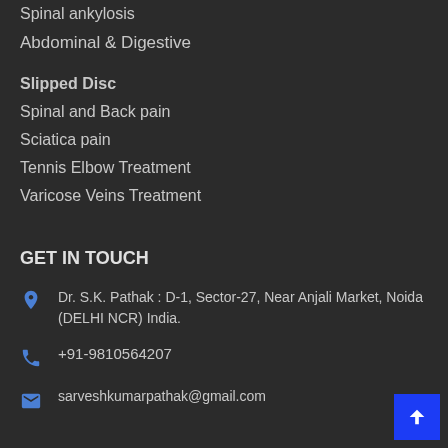Spinal ankylosis
Abdominal & Digestive
Slipped Disc
Spinal and Back pain
Sciatica pain
Tennis Elbow Treatment
Varicose Veins Treatment
GET IN TOUCH
Dr. S.K. Pathak : D-1, Sector-27, Near Anjali Market, Noida (DELHI NCR) India.
+91-9810564207
sarveshkumarpathak@gmail.com